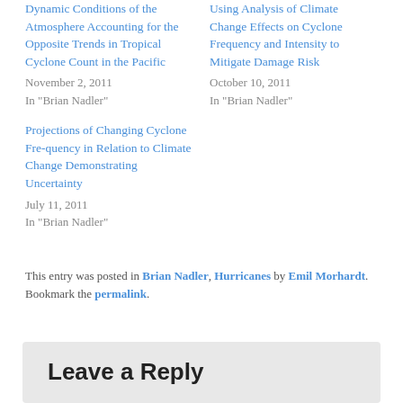Dynamic Conditions of the Atmosphere Accounting for the Opposite Trends in Tropical Cyclone Count in the Pacific
November 2, 2011
In "Brian Nadler"
Using Analysis of Climate Change Effects on Cyclone Frequency and Intensity to Mitigate Damage Risk
October 10, 2011
In "Brian Nadler"
Projections of Changing Cyclone Fre-quency in Relation to Climate Change Demonstrating Uncertainty
July 11, 2011
In "Brian Nadler"
This entry was posted in Brian Nadler, Hurricanes by Emil Morhardt. Bookmark the permalink.
Leave a Reply